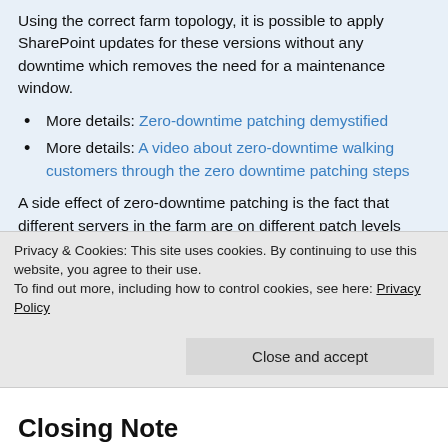Using the correct farm topology, it is possible to apply SharePoint updates for these versions without any downtime which removes the need for a maintenance window.
More details: Zero-downtime patching demystified
More details: A video about zero-downtime walking customers through the zero downtime patching steps
A side effect of zero-downtime patching is the fact that different servers in the farm are on different patch levels during the patching process. Due to these different patch levels, SharePoint servers would potentially serve different versions of the same JavaScript files to the end user. To prevent this SharePoint Server 2016 and 2019 include side-by-side functionality which – if enabled –
Privacy & Cookies: This site uses cookies. By continuing to use this website, you agree to their use.
To find out more, including how to control cookies, see here: Privacy Policy
Closing Note